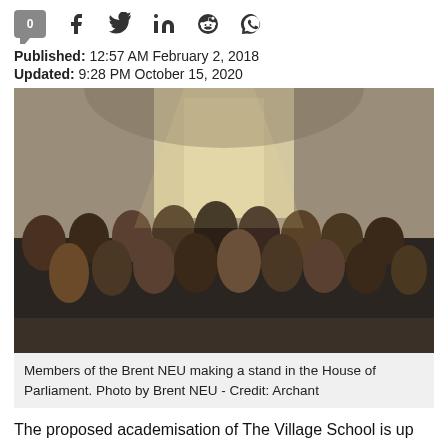0 [comment] [facebook] [twitter] [linkedin] [reddit] [whatsapp]
Published: 12:57 AM February 2, 2018
Updated: 9:28 PM October 15, 2020
[Figure (photo): Group photo of Members of the Brent NEU standing in the House of Parliament, a large historic hall with high windows and arched ceiling. The group of about 30 people are posing together, many wearing winter coats.]
Members of the Brent NEU making a stand in the House of Parliament. Photo by Brent NEU - Credit: Archant
The proposed academisation of The Village School is up for debate in the wake of three consecutive days of strike...